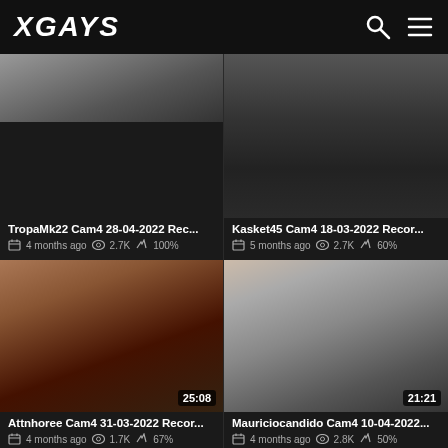XGAYS
[Figure (screenshot): Video thumbnail top-left, partial view, blurred adult content]
TropaMk22 Cam4 28-04-2022 Rec...
4 months ago  2.7K  100%
[Figure (screenshot): Video thumbnail top-right Kasket45, blurred adult content, no duration badge visible]
Kasket45 Cam4 18-03-2022 Recor...
5 months ago  2.7K  60%
[Figure (screenshot): Video thumbnail Attnhoree, duration 25:08, blurred adult content]
Attnhoree Cam4 31-03-2022 Recor...
4 months ago  1.7K  67%
[Figure (screenshot): Video thumbnail Mauriciocandido, duration 21:21, blurred adult content]
Mauriciocandido Cam4 10-04-2022...
4 months ago  2.8K  50%
[Figure (screenshot): Video thumbnail bottom-left, duration 03:14, partial view]
[Figure (screenshot): Video thumbnail bottom-right, duration 37:11, partial view]